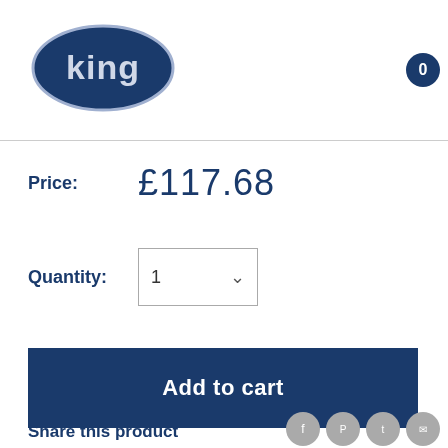[Figure (logo): King brand logo: dark navy blue oval/ellipse with white text 'king' inside]
0
Price:  £117.68
Quantity:  1
Add to cart
Share this product